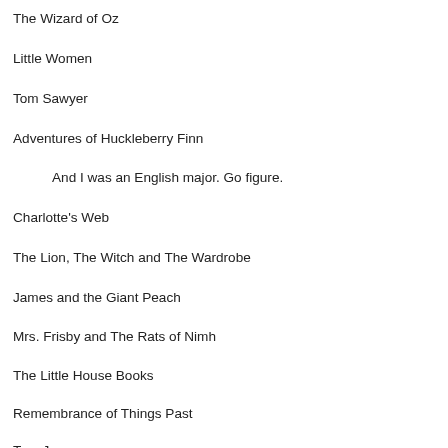The Wizard of Oz
Little Women
Tom Sawyer
Adventures of Huckleberry Finn
And I was an English major. Go figure.
Charlotte's Web
The Lion, The Witch and The Wardrobe
James and the Giant Peach
Mrs. Frisby and The Rats of Nimh
The Little House Books
Remembrance of Things Past
Tom Jones